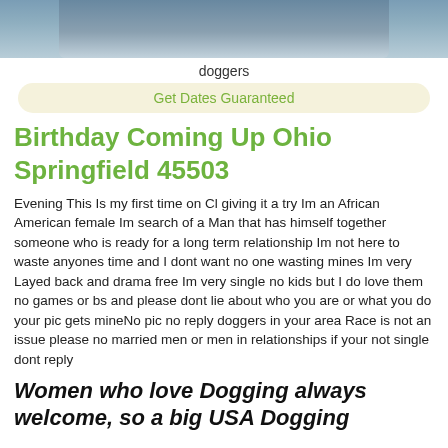[Figure (photo): Partial photo of a person, cropped at top, showing light blue fabric/clothing background]
doggers
Get Dates Guaranteed
Birthday Coming Up Ohio Springfield 45503
Evening This Is my first time on Cl giving it a try Im an African American female Im search of a Man that has himself together someone who is ready for a long term relationship Im not here to waste anyones time and I dont want no one wasting mines Im very Layed back and drama free Im very single no kids but I do love them no games or bs and please dont lie about who you are or what you do your pic gets mineNo pic no reply doggers in your area Race is not an issue please no married men or men in relationships if your not single dont reply
Women who love Dogging always welcome, so a big USA Dogging